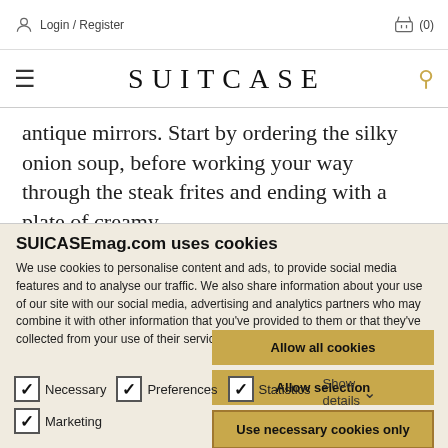Login / Register   (0)
SUITCASE
antique mirrors. Start by ordering the silky onion soup, before working your way through the steak frites and ending with a plate of creamy
SUICASEmag.com uses cookies
We use cookies to personalise content and ads, to provide social media features and to analyse our traffic. We also share information about your use of our site with our social media, advertising and analytics partners who may combine it with other information that you've provided to them or that they've collected from your use of their services.
Allow all cookies
Allow selection
Use necessary cookies only
Necessary
Preferences
Statistics
Marketing
Show details